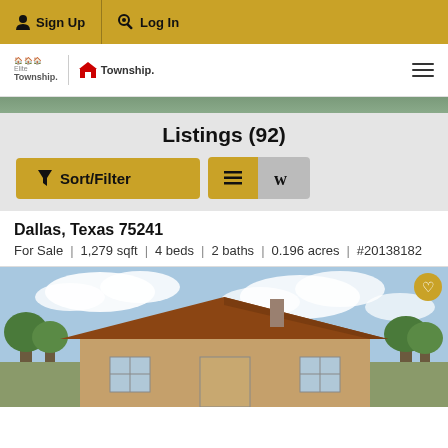Sign Up  Log In
[Figure (logo): Elite Township and Township logo with hamburger menu]
[Figure (photo): Partial property image strip at top]
Listings (92)
Sort/Filter | List view | Map view buttons
Dallas, Texas 75241
For Sale  |  1,279 sqft  |  4 beds  |  2 baths  |  0.196 acres  |  #20138182
[Figure (photo): Exterior photo of a brick house with brown roof under partly cloudy sky]